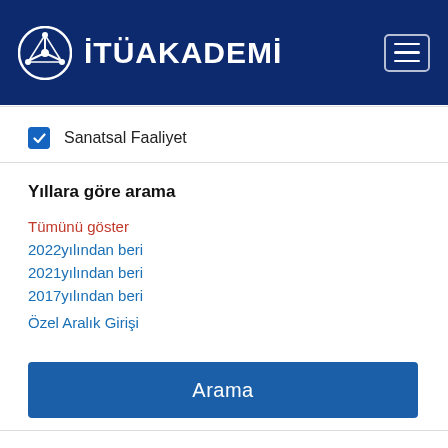[Figure (logo): ITU Akademi logo with navigation header on dark blue background]
Sanatsal Faaliyet (checked checkbox)
Yıllara göre arama
Tümünü göster
2022yılından beri
2021yılından beri
2017yılından beri
Özel Aralık Girişi
Arama
The Quaternary landforms of the Buyuk Menderes Graben System: the southern Menderes Massif,